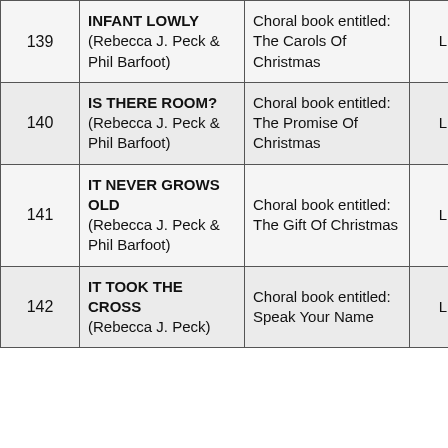| # | Title | Publication | Publisher |  |
| --- | --- | --- | --- | --- |
| 139 | INFANT LOWLY (Rebecca J. Peck & Phil Barfoot) | Choral book entitled: The Carols Of Christmas | LifeWay |  |
| 140 | IS THERE ROOM? (Rebecca J. Peck & Phil Barfoot) | Choral book entitled: The Promise Of Christmas | LifeWay |  |
| 141 | IT NEVER GROWS OLD (Rebecca J. Peck & Phil Barfoot) | Choral book entitled: The Gift Of Christmas | LifeWay |  |
| 142 | IT TOOK THE CROSS (Rebecca J. Peck) | Choral book entitled: Speak Your Name | LifeWay |  |